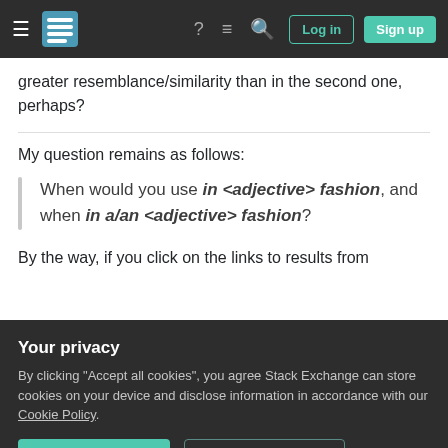Stack Exchange navigation bar with hamburger menu, logo, help, search, log in, sign up
greater resemblance/similarity than in the second one, perhaps?
My question remains as follows:
When would you use in <adjective> fashion, and when in a/an <adjective> fashion?
By the way, if you click on the links to results from
Your privacy
By clicking "Accept all cookies", you agree Stack Exchange can store cookies on your device and disclose information in accordance with our Cookie Policy.
Accept all cookies
Customize settings
web-based corpus (and hence may be unreliable) 25 times the